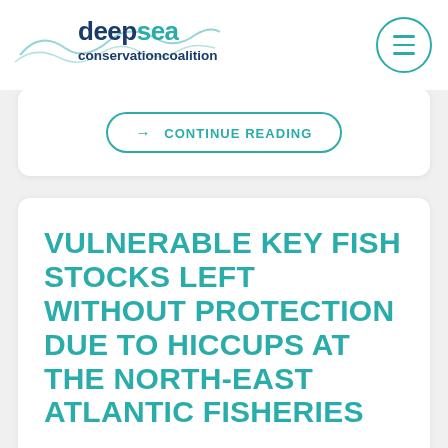deepsea conservationcoalition
→ CONTINUE READING
VULNERABLE KEY FISH STOCKS LEFT WITHOUT PROTECTION DUE TO HICCUPS AT THE NORTH-EAST ATLANTIC FISHERIES